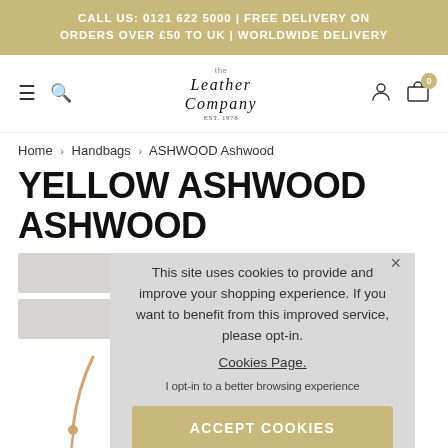CALL US: 0121 622 5000 | FREE DELIVERY ON ORDERS OVER £50 TO UK | WORLDWIDE DELIVERY
[Figure (screenshot): Navigation bar with hamburger menu, search icon, The Leather Company logo, user account icon, and shopping cart icon showing 0 items]
Home › Handbags › ASHWOOD Ashwood
YELLOW ASHWOOD ASHWOOD
This site uses cookies to provide and improve your shopping experience. If you want to benefit from this improved service, please opt-in. Cookies Page.

I opt-in to a better browsing experience

ACCEPT COOKIES